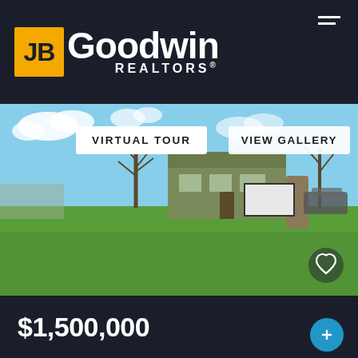[Figure (logo): JB Goodwin REALTORS logo — yellow square with JB in dark text, followed by Goodwin in white bold text and REALTORS in white spaced letters below]
[Figure (photo): Exterior photo of a commercial building with green lawn, stone sign structure, bare trees, and blue sky with clouds. Overlaid with VIRTUAL TOUR and VIEW GALLERY buttons, and a heart/favorite icon in the lower right.]
$1,500,000